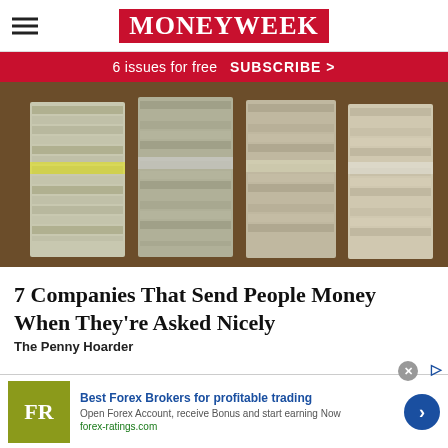MoneyWeek
6 issues for free  SUBSCRIBE >
[Figure (photo): Multiple stacks of bundled cash/banknotes arranged side by side on a surface]
7 Companies That Send People Money When They're Asked Nicely
The Penny Hoarder
[Figure (infographic): Advertisement banner: FR logo (olive/yellow-green background), text 'Best Forex Brokers for profitable trading', 'Open Forex Account, receive Bonus and start earning Now', 'forex-ratings.com', blue arrow button on right]